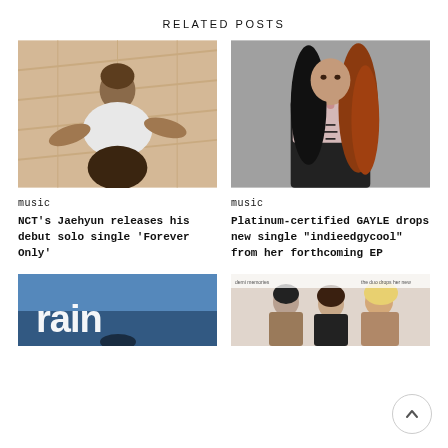RELATED POSTS
[Figure (photo): Young man with short brown hair lying on a wooden floor wearing a white t-shirt and dark shorts/pants]
music
NCT's Jaehyun releases his debut solo single 'Forever Only'
[Figure (photo): Woman with half black, half auburn wavy long hair, wearing a floral top and black corset, against gray background]
music
Platinum-certified GAYLE drops new single "indieedgycool" from her forthcoming EP
[Figure (photo): Partial image showing text 'rain' in large letters with a figure below, blue-toned]
[Figure (photo): Partial image showing three women with different hair colors against a light background, with text overlay]